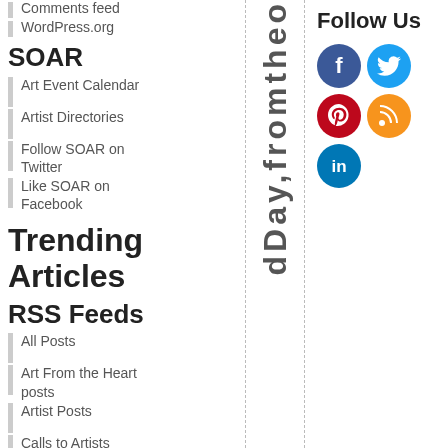Comments feed
WordPress.org
SOAR
Art Event Calendar
Artist Directories
Follow SOAR on Twitter
Like SOAR on Facebook
Trending Articles
RSS Feeds
All Posts
Art From the Heart posts
Artist Posts
Calls to Artists
Gallery Exhibits and News
[Figure (infographic): Vertical text reading 'dDay,fromtheo' rotated sideways between two dashed column dividers]
Follow Us
[Figure (infographic): Social media icons: Facebook (blue), Twitter (light blue), Pinterest (red), RSS (orange), LinkedIn (blue)]